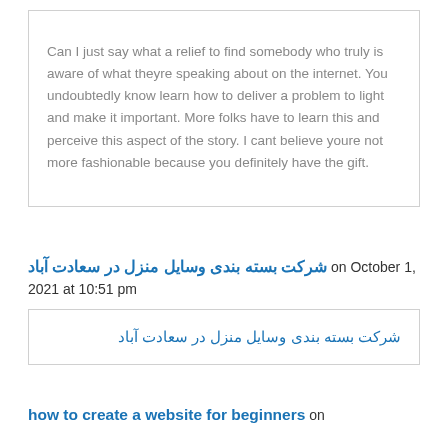Can I just say what a relief to find somebody who truly is aware of what theyre speaking about on the internet. You undoubtedly know learn how to deliver a problem to light and make it important. More folks have to learn this and perceive this aspect of the story. I cant believe youre not more fashionable because you definitely have the gift.
شرکت بسته بندی وسایل منزل در سعادت آباد on October 1, 2021 at 10:51 pm
شرکت بسته بندی وسایل منزل در سعادت آباد
how to create a website for beginners on